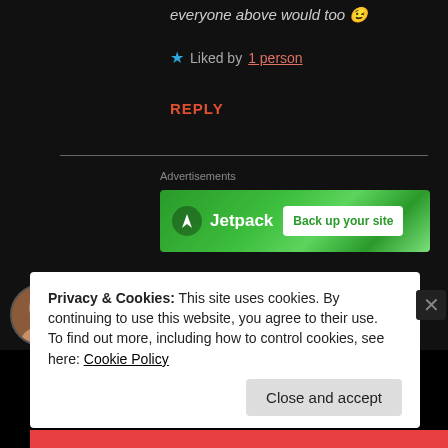everyone above would too 😉
★ Liked by 1 person
REPLY
[Figure (screenshot): Jetpack advertisement banner with green background, Jetpack logo, and 'Back up your site' button]
Paul Watson
Privacy & Cookies: This site uses cookies. By continuing to use this website, you agree to their use.
To find out more, including how to control cookies, see here: Cookie Policy
Close and accept